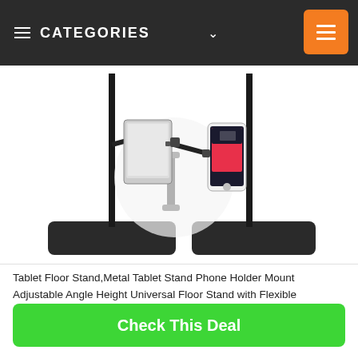CATEGORIES
[Figure (photo): Product photo showing a metal tablet floor stand with adjustable arms holding a tablet and a smartphone, shown from two angles with rectangular metal bases.]
Tablet Floor Stand,Metal Tablet Stand Phone Holder Mount Adjustable Angle Height Universal Floor Stand with Flexible Arms,Compatible with iPhone iPad Pro Air Mini,Samsung Tab,Kindle
Check This Deal